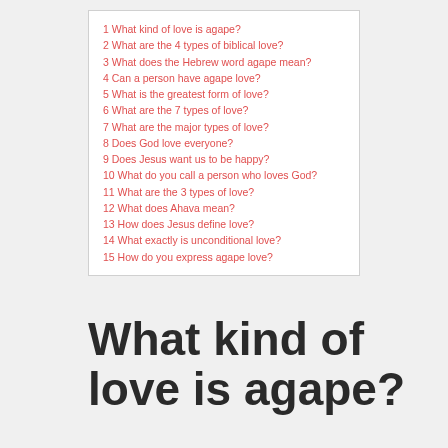1 What kind of love is agape?
2 What are the 4 types of biblical love?
3 What does the Hebrew word agape mean?
4 Can a person have agape love?
5 What is the greatest form of love?
6 What are the 7 types of love?
7 What are the major types of love?
8 Does God love everyone?
9 Does Jesus want us to be happy?
10 What do you call a person who loves God?
11 What are the 3 types of love?
12 What does Ahava mean?
13 How does Jesus define love?
14 What exactly is unconditional love?
15 How do you express agape love?
What kind of love is agape?